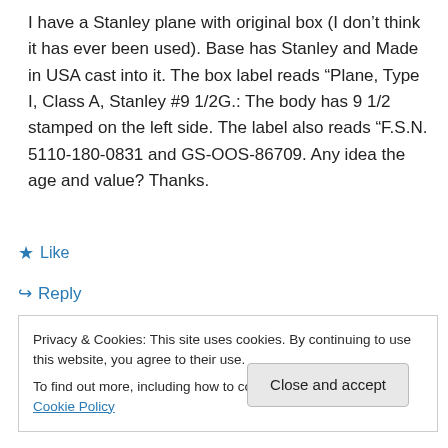I have a Stanley plane with original box (I don't think it has ever been used). Base has Stanley and Made in USA cast into it. The box label reads “Plane, Type I, Class A, Stanley #9 1/2G.: The body has 9 1/2 stamped on the left side. The label also reads “F.S.N. 5110-180-0831 and GS-OOS-86709. Any idea the age and value? Thanks.
★ Like
↪ Reply
Privacy & Cookies: This site uses cookies. By continuing to use this website, you agree to their use.
To find out more, including how to control cookies, see here: Cookie Policy